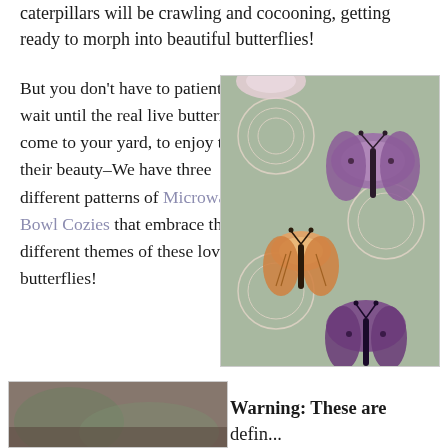caterpillars will be crawling and cocooning, getting ready to morph into beautiful butterflies!
But you don't have to patiently wait until the real live butterflies come to your yard, to enjoy the their beauty–We have three different patterns of Microwave Bowl Cozies that embrace the different themes of these lovely butterflies!
[Figure (photo): Fabric with butterfly pattern in purple, orange, and cream on a sage green background]
[Figure (photo): Partial view of a photo at bottom left, contents unclear]
Warning: These are defin...